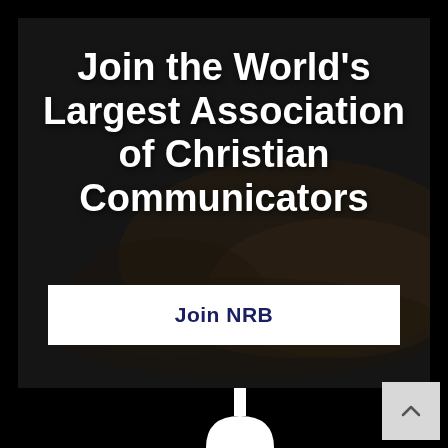[Figure (photo): Dark background image of hands typing on a laptop keyboard, used as hero banner background]
Join the World's Largest Association of Christian Communicators
Join NRB
[Figure (logo): NRB logo icon in white, partially visible at bottom of page — a stylized figure with arc shape below]
[Figure (other): Scroll-to-top button with upward chevron arrow, light grey square button in bottom right corner]